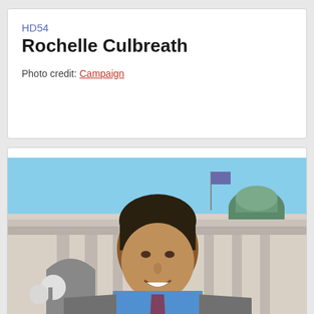HD54
Rochelle Culbreath
Photo credit: Campaign
[Figure (photo): Portrait photo of a man in a suit with blue shirt and tie, standing in front of a government building (capitol) with columns and a green dome visible in the background under a blue sky.]